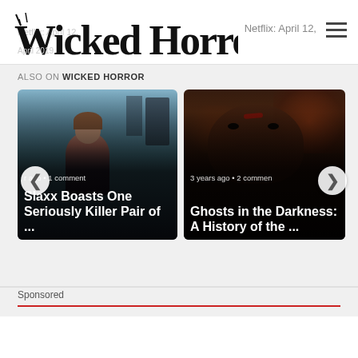Wicked Horror
Netflix: April 12,
ALSO ON WICKED HORROR
[Figure (screenshot): Card image for 'Slaxx Boasts One Seriously Killer Pair of ...' showing a woman in a store. Metadata: r ago • 1 comment]
Slaxx Boasts One Seriously Killer Pair of ...
[Figure (screenshot): Card image for 'Ghosts in the Darkness: A History of the ...' showing a dark face. Metadata: 3 years ago • 2 commen]
Ghosts in the Darkness: A History of the ...
Sponsored